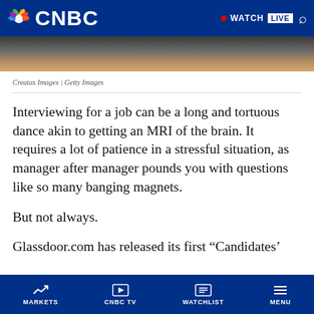CNBC | WATCH LIVE
[Figure (photo): Partial photo strip showing dark background with warm tan/beige tones at bottom]
Creatas Images | Getty Images
Interviewing for a job can be a long and tortuous dance akin to getting an MRI of the brain. It requires a lot of patience in a stressful situation, as manager after manager pounds you with questions like so many banging magnets.
But not always.
Glassdoor.com has released its first “Candidates’
MARKETS | CNBC TV | WATCHLIST | MENU